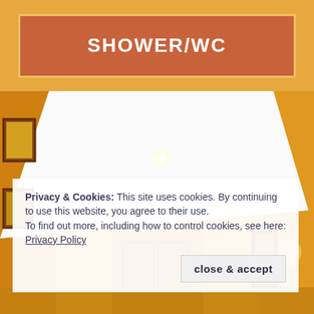SHOWER/WC
[Figure (photo): Interior photo of a bright yellow-walled room with a white suspended ceiling featuring recessed spotlights. Framed artwork visible on the walls. The room appears to be a bathroom or corridor area photographed looking upward.]
Privacy & Cookies: This site uses cookies. By continuing to use this website, you agree to their use.
To find out more, including how to control cookies, see here: Privacy Policy
close & accept